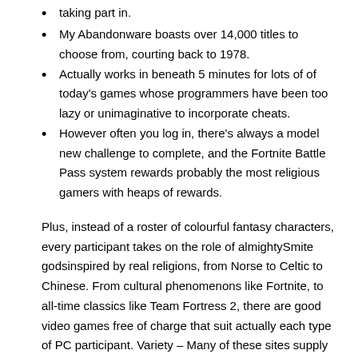taking part in.
My Abandonware boasts over 14,000 titles to choose from, courting back to 1978.
Actually works in beneath 5 minutes for lots of of today's games whose programmers have been too lazy or unimaginative to incorporate cheats.
However often you log in, there's always a model new challenge to complete, and the Fortnite Battle Pass system rewards probably the most religious gamers with heaps of rewards.
Plus, instead of a roster of colourful fantasy characters, every participant takes on the role of almightySmite godsinspired by real religions, from Norse to Celtic to Chinese. From cultural phenomenons like Fortnite, to all-time classics like Team Fortress 2, there are good video games free of charge that suit actually each type of PC participant. Variety – Many of these sites supply a huge range of free PC video games, together with every little thing